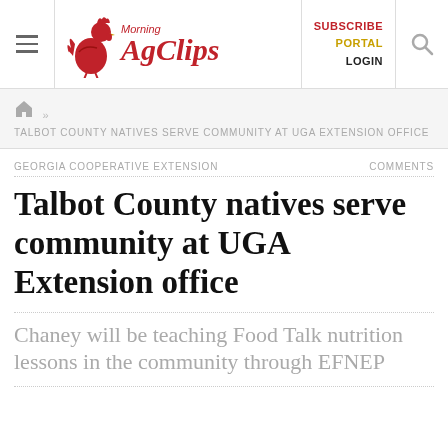Morning AgClips | SUBSCRIBE PORTAL LOGIN
TALBOT COUNTY NATIVES SERVE COMMUNITY AT UGA EXTENSION OFFICE
GEORGIA COOPERATIVE EXTENSION | COMMENTS
Talbot County natives serve community at UGA Extension office
Chaney will be teaching Food Talk nutrition lessons in the community through EFNEP